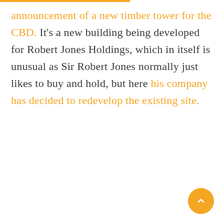announcement of a new timber tower for the CBD. It's a new building being developed for Robert Jones Holdings, which in itself is unusual as Sir Robert Jones normally just likes to buy and hold, but here his company has decided to redevelop the existing site.